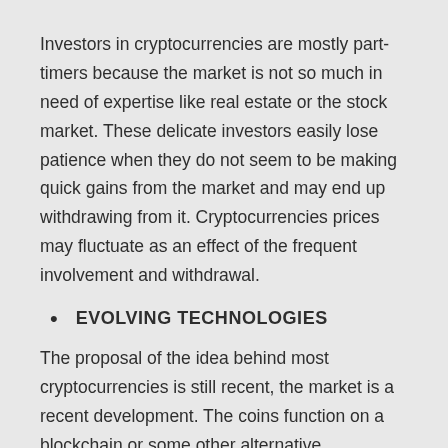Investors in cryptocurrencies are mostly part-timers because the market is not so much in need of expertise like real estate or the stock market. These delicate investors easily lose patience when they do not seem to be making quick gains from the market and may end up withdrawing from it. Cryptocurrencies prices may fluctuate as an effect of the frequent involvement and withdrawal.
EVOLVING TECHNOLOGIES
The proposal of the idea behind most cryptocurrencies is still recent, the market is a recent development. The coins function on a blockchain or some other alternative technologies which are still evolving. This poses a scalability